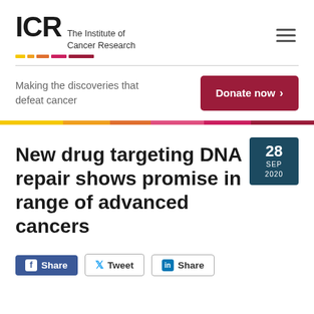[Figure (logo): ICR - The Institute of Cancer Research logo with coloured underline bars]
Making the discoveries that defeat cancer
Donate now >
New drug targeting DNA repair shows promise in range of advanced cancers
28 SEP 2020
f Share   Tweet   in Share